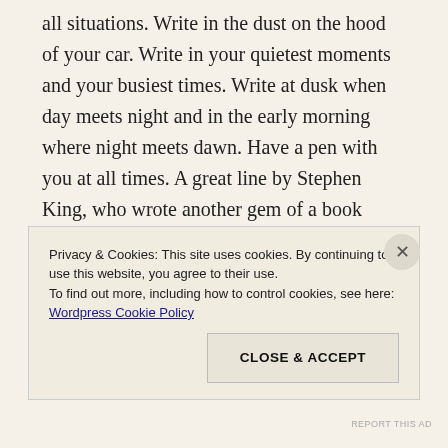all situations. Write in the dust on the hood of your car. Write in your quietest moments and your busiest times. Write at dusk when day meets night and in the early morning where night meets dawn. Have a pen with you at all times. A great line by Stephen King, who wrote another gem of a book called On Writing, said quite simply and profoundly, to “Kill your little darlings.” What I have learned from Mr. King is that a great idea for a book may just end up being a small sentence in your actual story. Suppressing your ego and braving the
Privacy & Cookies: This site uses cookies. By continuing to use this website, you agree to their use.
To find out more, including how to control cookies, see here:
Wordpress Cookie Policy
CLOSE & ACCEPT
REPORT THIS AD